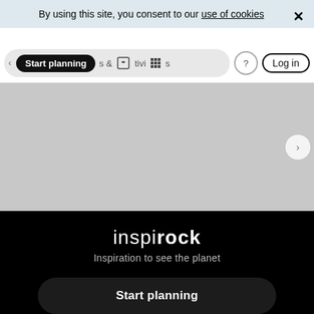By using this site, you consent to our use of cookies
[Figure (screenshot): Website navigation bar with 'Start planning' pill button, activities icons, help button, and Log in button]
[Figure (screenshot): Grey hero/image area placeholder]
inspirock
Inspiration to see the planet
Start planning